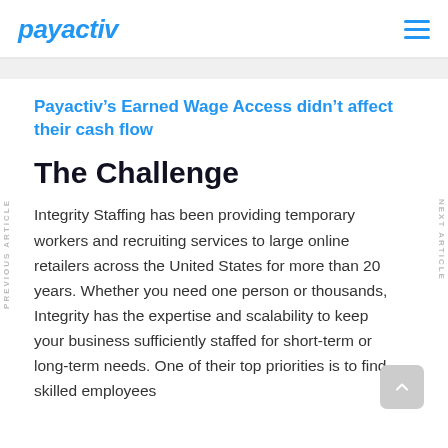payactiv
Payactiv’s Earned Wage Access didn’t affect their cash flow
The Challenge
Integrity Staffing has been providing temporary workers and recruiting services to large online retailers across the United States for more than 20 years. Whether you need one person or thousands, Integrity has the expertise and scalability to keep your business sufficiently staffed for short-term or long-term needs. One of their top priorities is to find skilled employees